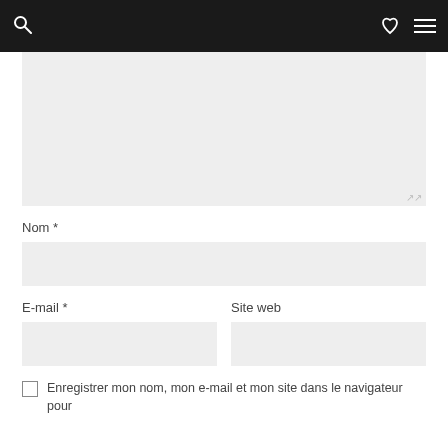Nom *
E-mail *
Site web
Enregistrer mon nom, mon e-mail et mon site dans le navigateur pour